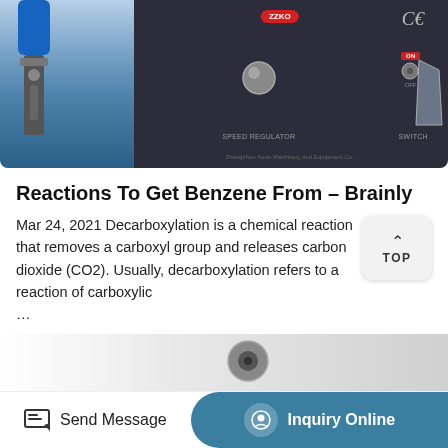[Figure (photo): Product photo showing a blue handheld tool on the left and a dark equipment panel with speed regulator knob, ON/OFF switch, CE mark, and ZZKO badge on the right. Bottom watermark text visible.]
Reactions To Get Benzene From – Brainly
Mar 24, 2021 Decarboxylation is a chemical reaction that removes a carboxyl group and releases carbon dioxide (CO2). Usually, decarboxylation refers to a reaction of carboxylic
...
More Product
[Figure (photo): Partially visible product photo at the bottom of the page]
Send Message   Inquiry Online